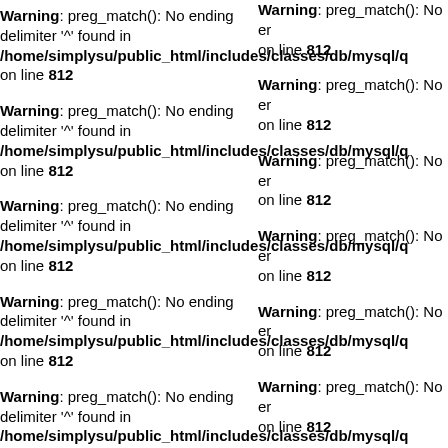Warning: preg_match(): No ending delimiter '^' found in /home/simplysu/public_html/includes/classes/db/mysql/q on line 812
Warning: preg_match(): No ending delimiter '^' found in /home/simplysu/public_html/includes/classes/db/mysql/q on line 812
Warning: preg_match(): No ending delimiter '^' found in /home/simplysu/public_html/includes/classes/db/mysql/q on line 812
Warning: preg_match(): No ending delimiter '^' found in /home/simplysu/public_html/includes/classes/db/mysql/q on line 812
Warning: preg_match(): No ending delimiter '^' found in /home/simplysu/public_html/includes/classes/db/mysql/q on line 812
Warning: preg_match(): No er on line 812
Warning: preg_match(): No er on line 812
Warning: preg_match(): No er on line 812
Warning: preg_match(): No er on line 812
Warning: preg_match(): No er on line 812
Warning: preg_match(): No er on line 812
Warning: preg_match(): No er on line 812